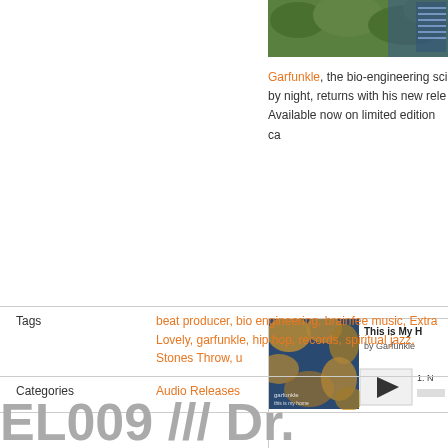[Figure (photo): Partial photo of green foliage/trees with blue element at top right]
Garfunkle, the bio-engineering sci by night, returns with his new rele Available now on limited edition ca
[Figure (screenshot): Bandcamp music player embed showing album 'This is My Home' by Garfunkle with album art (blue and orange abstract painting) and play button]
Tags
beat producer, bio engineering, brainfee music, Extra Lovely, garfunkle, hip hop, records, spiritual jazz, Stones Throw, u
Categories
Audio Releases
EL009 /// Dr.